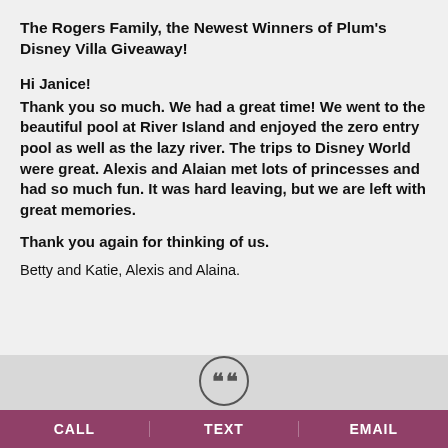The Rogers Family, the Newest Winners of Plum's Disney Villa Giveaway!
Hi Janice!
Thank you so much. We had a great time! We went to the beautiful pool at River Island and enjoyed the zero entry pool as well as the lazy river. The trips to Disney World were great. Alexis and Alaian met lots of princesses and had so much fun. It was hard leaving, but we are left with great memories.
Thank you again for thinking of us.
Betty and Katie, Alexis and Alaina.
[Figure (illustration): A circular quote icon with two opening quotation marks inside a circle]
CALL   TEXT   EMAIL